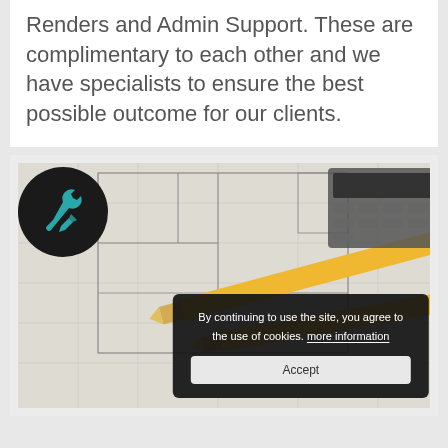Renders and Admin Support. These are complimentary to each other and we have specialists to ensure the best possible outcome for our clients.
[Figure (photo): Engineering/architectural blueprint drawings with pencils and a calculator, overlaid with a dark circular logo featuring a wrench and pencil icon in teal, and a cookie consent popup overlay.]